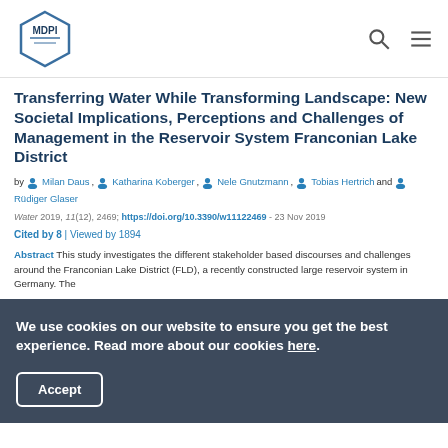MDPI
Transferring Water While Transforming Landscape: New Societal Implications, Perceptions and Challenges of Management in the Reservoir System Franconian Lake District
by Milan Daus, Katharina Koberger, Nele Gnutzmann, Tobias Hertrich and Rüdiger Glaser
Water 2019, 11(12), 2469; https://doi.org/10.3390/w11122469 - 23 Nov 2019
Cited by 8 | Viewed by 1894
Abstract This study investigates the different stakeholder based discourses and challenges around the Franconian Lake District (FLD), a recently constructed large reservoir system in Germany. The
We use cookies on our website to ensure you get the best experience. Read more about our cookies here.
Accept